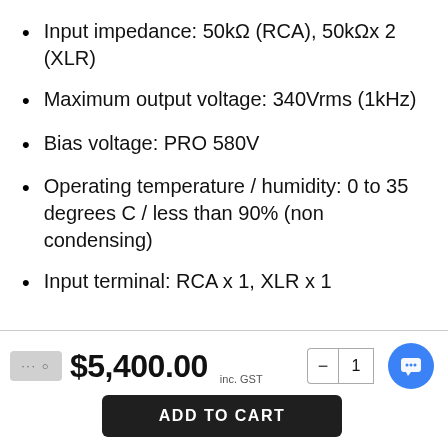Input impedance: 50kΩ (RCA), 50kΩx 2 (XLR)
Maximum output voltage: 340Vrms (1kHz)
Bias voltage: PRO 580V
Operating temperature / humidity: 0 to 35 degrees C / less than 90% (non condensing)
Input terminal: RCA x 1, XLR x 1
$5,400.00 inc. GST
ADD TO CART